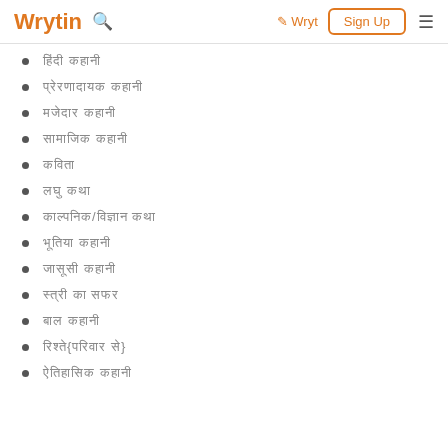Wrytin | Wryt | Sign Up
हिंदी कहानी
प्रेरणादायक कहानी
मजेदार कहानी
सामाजिक कहानी
कविता
लघु कथा
काल्पनिक/विज्ञान कथा
भूतिया कहानी
जासूसी कहानी
स्त्री का सफर
बाल कहानी
रिश्ते{परिवार से}
ऐतिहासिक कहानी